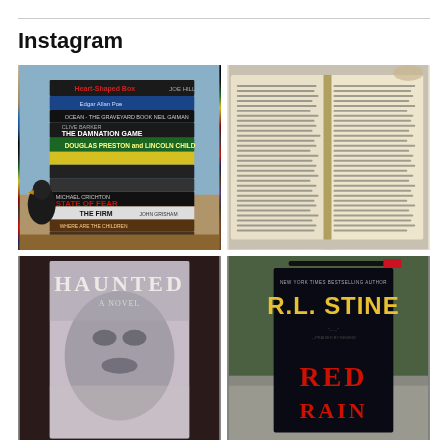Instagram
[Figure (photo): Stack of horror/thriller books including Heart-Shaped Box by Joe Hill, works by Edgar Allan Poe, Neil Gaiman, Clive Barker (The Damnation Game), Douglas Preston and Lincoln Child, Michael Crichton (State of Fear), The Firm by John Grisham, and others, with a decorative bird figurine beside them on a wooden table.]
[Figure (photo): An open book showing two pages of dense printed text, laid on a surface.]
[Figure (photo): Cover of the book 'Haunted: A Novel' showing a close-up blurred face in grayscale.]
[Figure (photo): Cover of 'Red Rain' by R.L. Stine (New York Times Bestselling Author), a dark book with red text, propped open outdoors on stone, with a pen on top.]